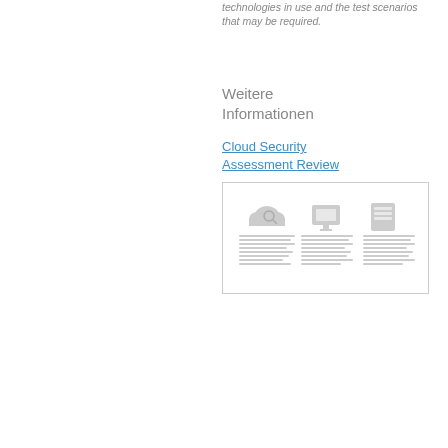technologies in use and the test scenarios that may be required.
Weitere Informationen
Cloud Security Assessment Review
[Figure (screenshot): A thumbnail image showing a brochure or document page with three columns, each with a grey icon at the top (cloud with magnifier, monitor/screen, and document/server) and small text below each icon describing cloud security assessment review services.]